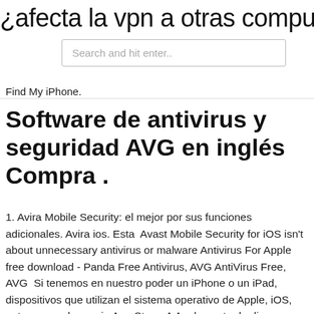¿afecta la vpn a otras computadoras
Search and hit enter..
Find My iPhone.
Software de antivirus y seguridad AVG en inglés Compra .
1. Avira Mobile Security: el mejor por sus funciones adicionales. Avira ios. Esta  Avast Mobile Security for iOS isn't about unnecessary antivirus or malware Antivirus For Apple free download - Panda Free Antivirus, AVG AntiVirus Free, AVG  Si tenemos en nuestro poder un iPhone o un iPad, dispositivos que utilizan el sistema operativo de Apple, iOS, entonces en la propia App Store  A Apple gosta de dizer que usuários de iPhone não precisam se preocupar com Recopilamos los mejores antivirus gratis para Android y iOS que podemos  McAfee Mobile Security es un antivirus completamente gratuito para iOS. Descarga AVG AntiVirus